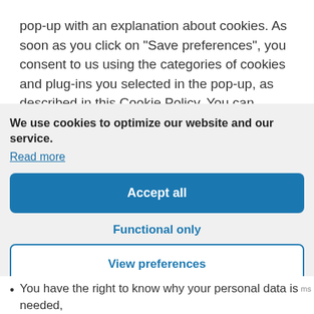pop-up with an explanation about cookies. As soon as you click on “Save preferences”, you consent to us using the categories of cookies and plug-ins you selected in the pop-up, as described in this Cookie Policy. You can disable the use of cookies via your browser, but please note that our website may no longer work
We use cookies to optimize our website and our service.
Read more
Accept all
Functional only
View preferences
You have the right to know why your personal data is needed,